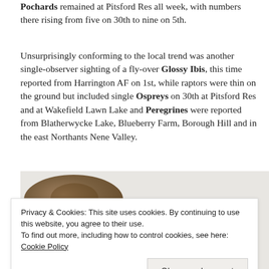Pochards remained at Pitsford Res all week, with numbers there rising from five on 30th to nine on 5th.
Unsurprisingly conforming to the local trend was another single-observer sighting of a fly-over Glossy Ibis, this time reported from Harrington AF on 1st, while raptors were thin on the ground but included single Ospreys on 30th at Pitsford Res and at Wakefield Lawn Lake and Peregrines were reported from Blatherwycke Lake, Blueberry Farm, Borough Hill and in the east Northants Nene Valley.
[Figure (photo): Partial photograph of a bird (brown/gray plumage), partially obscured by a cookie consent banner overlay]
Privacy & Cookies: This site uses cookies. By continuing to use this website, you agree to their use.
To find out more, including how to control cookies, see here: Cookie Policy
Close and accept